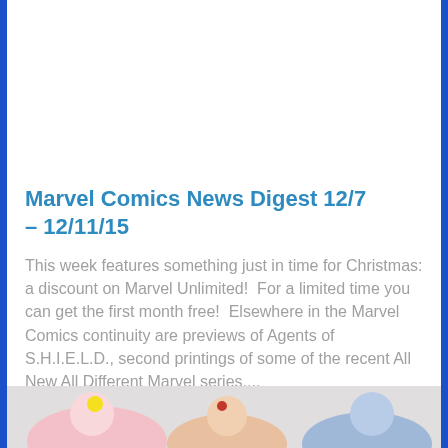Marvel Comics News Digest 12/7 – 12/11/15
This week features something just in time for Christmas: a discount on Marvel Unlimited!  For a limited time you can get the first month free!  Elsewhere in the Marvel Comics continuity are previews of Agents of S.H.I.E.L.D., second printings of some of the recent All New All Different Marvel series,...
[Figure (illustration): Partial view of comic book characters at the bottom of the page]